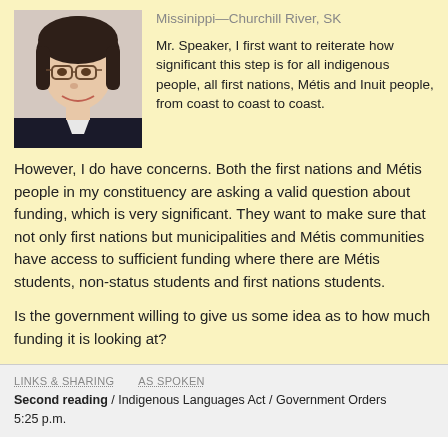[Figure (photo): Portrait photo of a woman with short dark hair wearing glasses and a dark jacket, smiling.]
Missinippi—Churchill River, SK
Mr. Speaker, I first want to reiterate how significant this step is for all indigenous people, all first nations, Métis and Inuit people, from coast to coast to coast.
However, I do have concerns. Both the first nations and Métis people in my constituency are asking a valid question about funding, which is very significant. They want to make sure that not only first nations but municipalities and Métis communities have access to sufficient funding where there are Métis students, non-status students and first nations students.
Is the government willing to give us some idea as to how much funding it is looking at?
LINKS & SHARING   AS SPOKEN
Second reading / Indigenous Languages Act / Government Orders
5:25 p.m.